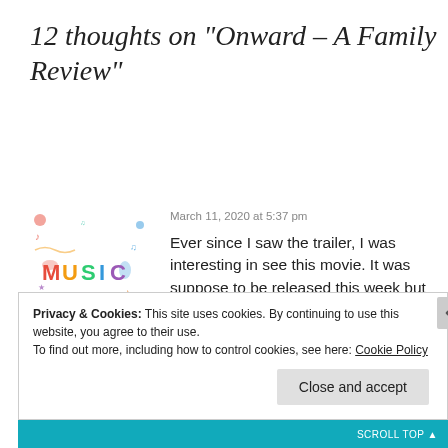12 thoughts on “Onward – A Family Review”
March 11, 2020 at 5:37 pm
[Figure (illustration): Colorful music-themed avatar image with the word MUSIC in colorful letters surrounded by musical notes and doodles]
aisasami
Ever since I saw the trailer, I was interesting in see this movie. It was suppose to be released this week but due to the Coronavirus here in Japan, Disney decided to delay its release.
Privacy & Cookies: This site uses cookies. By continuing to use this website, you agree to their use.
To find out more, including how to control cookies, see here: Cookie Policy
Close and accept